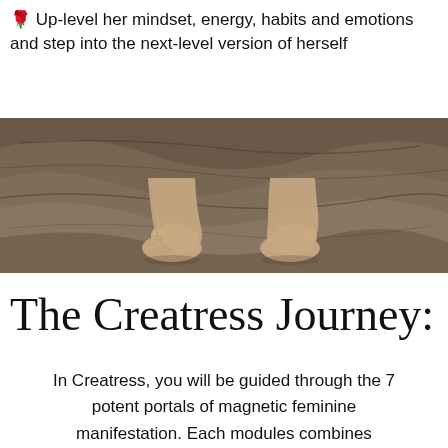🌹 Up-level her mindset, energy, habits and emotions and step into the next-level version of herself
[Figure (photo): Bare feet of a woman standing on a rocky stone surface, viewed from just above ankle height, wide shot showing both feet with toenail polish, natural rocky texture background.]
The Creatress Journey:
In Creatress, you will be guided through the 7 potent portals of magnetic feminine manifestation. Each modules combines energetic principles, embodied processes and